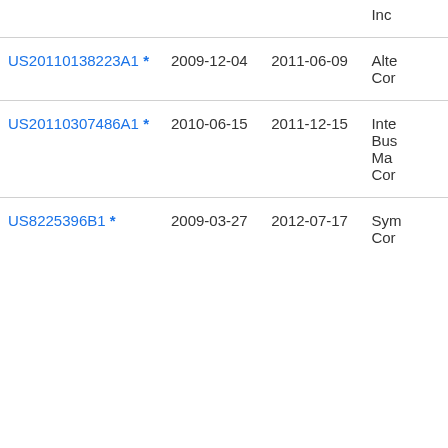| Publication number | Priority date | Publication date | Assignee |
| --- | --- | --- | --- |
| US20110138223A1 * | 2009-12-04 | 2011-06-09 | Alte... Cor... |
| US20110307486A1 * | 2010-06-15 | 2011-12-15 | Inte... Bus... Ma... Cor... |
| US8225396B1 * | 2009-03-27 | 2012-07-17 | Sym... Cor... |